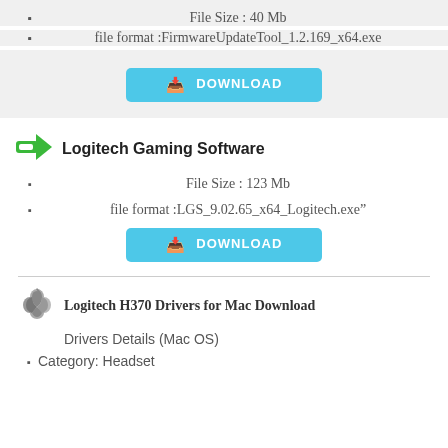File Size : 40 Mb
file format :FirmwareUpdateTool_1.2.169_x64.exe
DOWNLOAD
Logitech Gaming Software
File Size : 123 Mb
file format :LGS_9.02.65_x64_Logitech.exe"
DOWNLOAD
Logitech H370 Drivers for Mac Download
Drivers Details (Mac OS)
Category: Headset